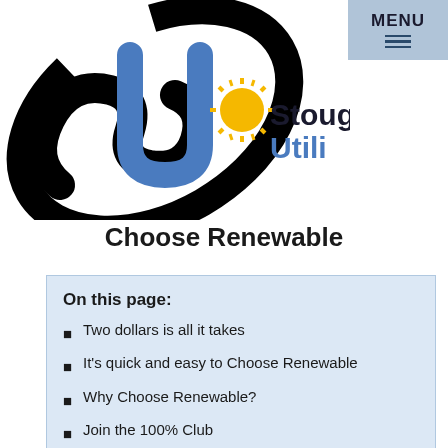MENU
[Figure (logo): Stoughton Utilities logo with stylized SU letters and sunburst icon, followed by text 'Stoughton Utili' (cropped by menu)]
Choose Renewable
On this page:
Two dollars is all it takes
It's quick and easy to Choose Renewable
Why Choose Renewable?
Join the 100% Club
Stoughton Utilities is an Industry Leader